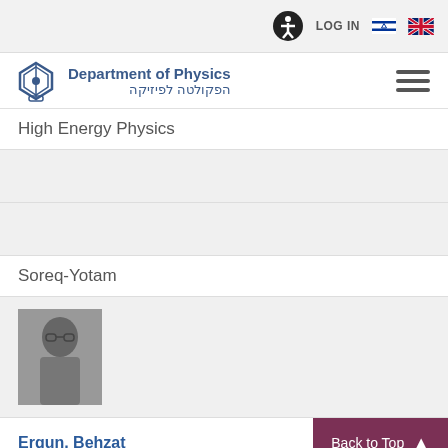LOG IN
[Figure (logo): Department of Physics logo with Hebrew text הפקולטה לפיזיקה]
High Energy Physics
Soreq-Yotam
[Figure (photo): Black and white portrait photo of a person wearing glasses]
Ergun, Behzat
Postdocs